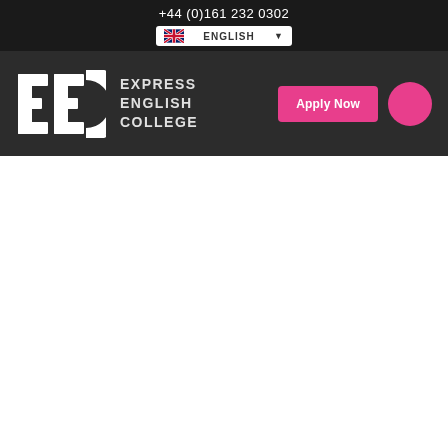+44 (0)161 232 0302
[Figure (logo): UK flag icon with ENGLISH dropdown selector]
[Figure (logo): Express English College logo with EEC letters and text: EXPRESS ENGLISH COLLEGE]
Apply Now
[Figure (other): Pink circle button/icon]